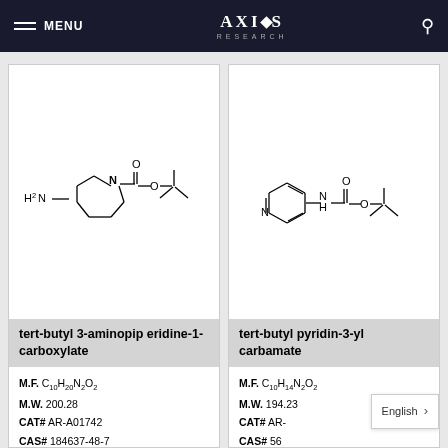MENU | AXIOS RESEARCH | [search]
[Figure (illustration): Chemical structure of tert-butyl 3-aminopiperidine-1-carboxylate: H2N group attached to piperidine ring with N-C(=O)-O-C(CH3)3 substituent]
tert-butyl 3-aminopiperidine-1-carboxylate
M.F. C10H20N2O2
M.W. 200.28
CAT# AR-A01742
CAS# 184637-48-7
[Figure (illustration): Chemical structure of tert-butyl pyridin-3-yl carbamate: pyridine ring with NH-C(=O)-O-C(CH3)3 substituent]
tert-butyl pyridin-3-yl carbamate
M.F. C10H14N2O2
M.W. 194.23
CAT# AR-
CAS# 56
English >